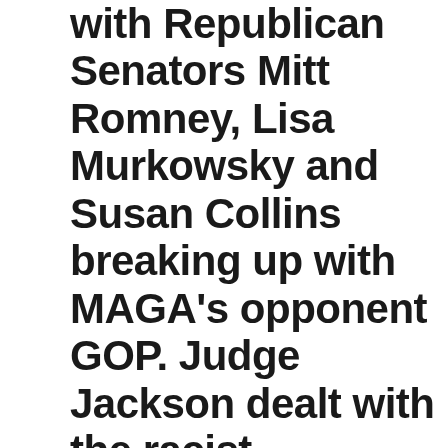with Republican Senators Mitt Romney, Lisa Murkowsky and Susan Collins breaking up with MAGA's opponent GOP. Judge Jackson dealt with the racist, misogynistic and self-righteous attacks against her during her confirmation hearings by Senators Lindsey Graham, Ted Cruz and Josh Hawley